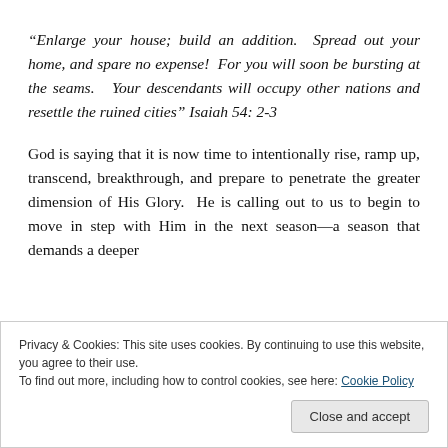“Enlarge your house; build an addition.  Spread out your home, and spare no expense!  For you will soon be bursting at the seams.   Your descendants will occupy other nations and resettle the ruined cities” Isaiah 54: 2-3
God is saying that it is now time to intentionally rise, ramp up, transcend, breakthrough, and prepare to penetrate the greater dimension of His Glory.  He is calling out to us to begin to move in step with Him in the next season—a season that demands a deeper
Privacy & Cookies: This site uses cookies. By continuing to use this website, you agree to their use.
To find out more, including how to control cookies, see here: Cookie Policy
Close and accept